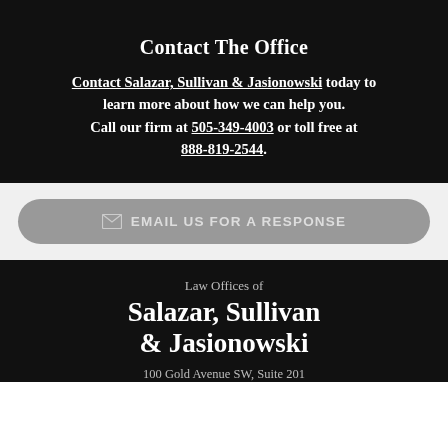Contact The Office
Contact Salazar, Sullivan & Jasionowski today to learn more about how we can help you. Call our firm at 505-349-4003 or toll free at 888-819-2544.
[Figure (other): Grey rounded-rectangle button with envelope icon and text 'EMAIL US FOR A RESPONSE']
Law Offices of
Salazar, Sullivan & Jasionowski
100 Gold Avenue SW, Suite 201